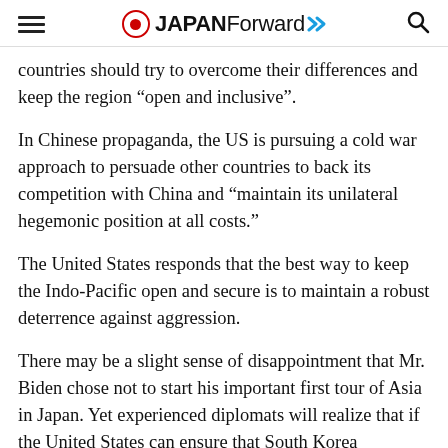JAPAN Forward
countries should try to overcome their differences and keep the region “open and inclusive”.
In Chinese propaganda, the US is pursuing a cold war approach to persuade other countries to back its competition with China and “maintain its unilateral hegemonic position at all costs.”
The United States responds that the best way to keep the Indo-Pacific open and secure is to maintain a robust deterrence against aggression.
There may be a slight sense of disappointment that Mr. Biden chose not to start his important first tour of Asia in Japan. Yet experienced diplomats will realize that if the United States can ensure that South Korea participates fully in its Indo-Pacific strategy, that is very